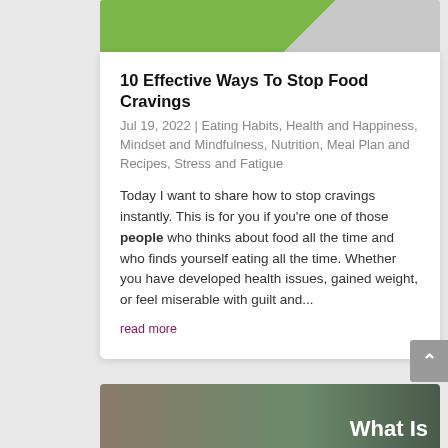[Figure (photo): Top portion of a blog card image with green and grey diagonal split]
10 Effective Ways To Stop Food Cravings
Jul 19, 2022 | Eating Habits, Health and Happiness, Mindset and Mindfulness, Nutrition, Meal Plan and Recipes, Stress and Fatigue
Today I want to share how to stop cravings instantly. This is for you if you're one of those people who thinks about food all the time and who finds yourself eating all the time. Whether you have developed health issues, gained weight, or feel miserable with guilt and...
read more
[Figure (photo): Bottom blog card image showing a woman near a refrigerator with vegetables, with bold white text 'What Is' overlaid]